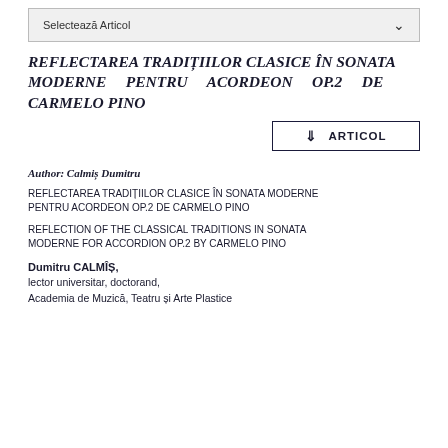Selectează Articol
REFLECTAREA TRADIȚIILOR CLASICE ÎN SONATA MODERNE PENTRU ACORDEON OP.2 DE CARMELO PINO
[Figure (other): Download ARTICOL button]
Author: Calmiș Dumitru
REFLECTAREA TRADIȚIILOR CLASICE ÎN SONATA MODERNE PENTRU ACORDEON OP.2 DE CARMELO PINO
REFLECTION OF THE CLASSICAL TRADITIONS IN SONATA MODERNE FOR ACCORDION OP.2 BY CARMELO PINO
Dumitru CALMÎȘ,
lector universitar, doctorand,
Academia de Muzică, Teatru și Arte Plastice